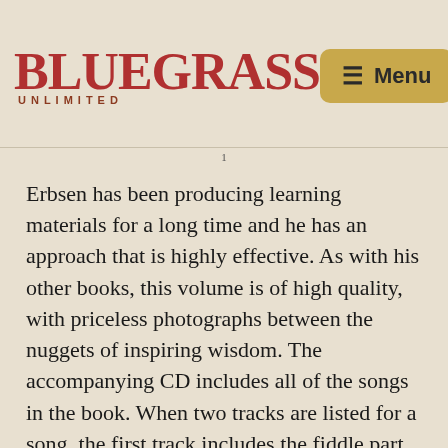BLUEGRASS UNLIMITED | Menu
Erbsen has been producing learning materials for a long time and he has an approach that is highly effective. As with his other books, this volume is of high quality, with priceless photographs between the nuggets of inspiring wisdom. The accompanying CD includes all of the songs in the book. When two tracks are listed for a song, the first track includes the fiddle part with just a guitar backup. The second track has a mandolin playing the melody and the fiddle playing the backup parts with guitar accompaniment. There are tracks to demonstrate the licks for different songs. Complete lyrics for all of the songs are included in Microsoft Word format on the CD as well.